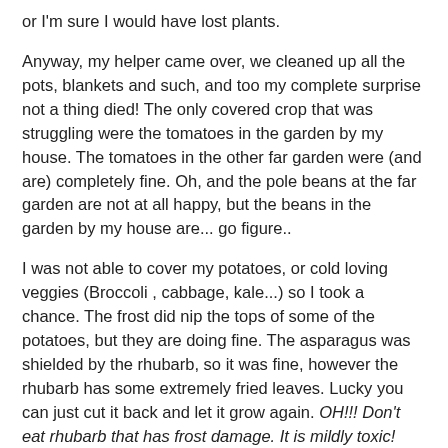or I'm sure I would have lost plants.
Anyway, my helper came over, we cleaned up all the pots, blankets and such, and too my complete surprise not a thing died! The only covered crop that was struggling were the tomatoes in the garden by my house. The tomatoes in the other far garden were (and are) completely fine. Oh, and the pole beans at the far garden are not at all happy, but the beans in the garden by my house are... go figure..
I was not able to cover my potatoes, or cold loving veggies (Broccoli , cabbage, kale...) so I took a chance. The frost did nip the tops of some of the potatoes, but they are doing fine. The asparagus was shielded by the rhubarb, so it was fine, however the rhubarb has some extremely fried leaves. Lucky you can just cut it back and let it grow again. OH!!! Don't eat rhubarb that has frost damage. It is mildly toxic!
Bringing back your sad plants